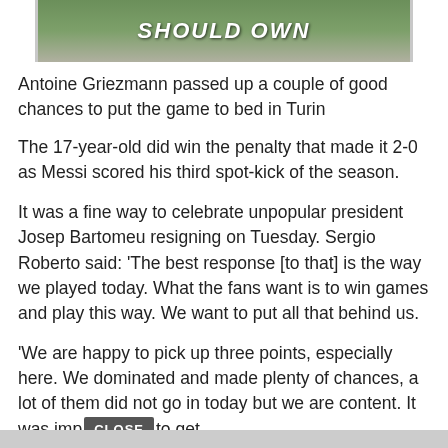[Figure (photo): Partial image banner at the top with text 'SHOULD OWN' on a green/brown background]
Antoine Griezmann passed up a couple of good chances to put the game to bed in Turin
The 17-year-old did win the penalty that made it 2-0 as Messi scored his third spot-kick of the season.
It was a fine way to celebrate unpopular president Josep Bartomeu resigning on Tuesday. Sergio Roberto said: 'The best response [to that] is the way we played today. What the fans want is to win games and play this way. We want to put all that behind us.
'We are happy to pick up three points, especially here. We dominated and made plenty of chances, a lot of them did not go in today but we are content. It was imp[CLOSE]to get the result after losing to Real Madrid.'